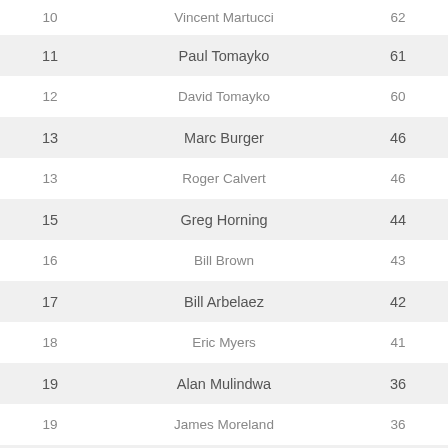| Rank | Name | Score |
| --- | --- | --- |
| 10 | Vincent Martucci | 62 |
| 11 | Paul Tomayko | 61 |
| 12 | David Tomayko | 60 |
| 13 | Marc Burger | 46 |
| 13 | Roger Calvert | 46 |
| 15 | Greg Horning | 44 |
| 16 | Bill Brown | 43 |
| 17 | Bill Arbelaez | 42 |
| 18 | Eric Myers | 41 |
| 19 | Alan Mulindwa | 36 |
| 19 | James Moreland | 36 |